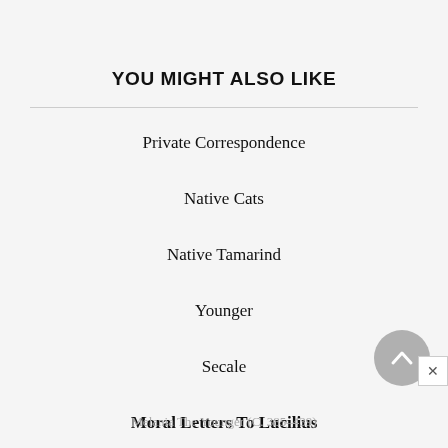YOU MIGHT ALSO LIKE
Private Correspondence
Native Cats
Native Tamarind
Younger
Secale
Moral Letters To Lucilius
Melania The Younger (C. 385–439)